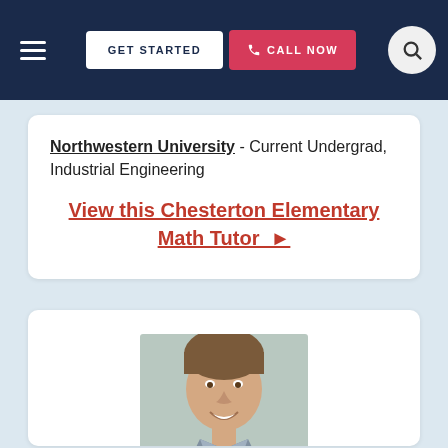GET STARTED | CALL NOW
Northwestern University - Current Undergrad, Industrial Engineering
View this Chesterton Elementary Math Tutor ▶
[Figure (photo): Headshot photo of a young male tutor with brown hair, smiling, in a card below the first listing card]